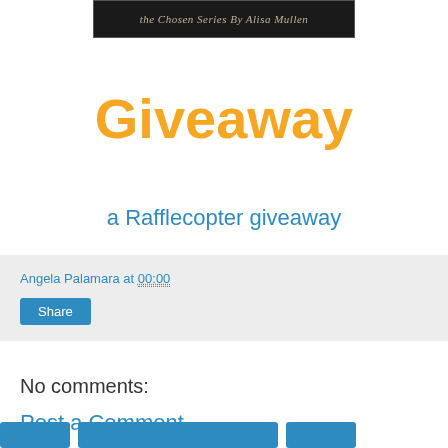[Figure (illustration): Dark banner image with italic script text reading 'the Chosen Series By Alisa Mullen']
Giveaway
a Rafflecopter giveaway
Angela Palamara at 00:00
Share
No comments:
Post a Comment